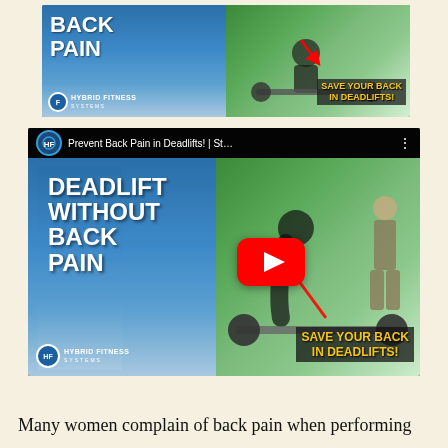[Figure (screenshot): Thumbnail image of 'Deadlift Without Back Pain – Save Your Back In Deadlifts!' video from Hybrid Fitness Systems. Left side has blue gradient background with bold white text 'BACK PAIN'. Right side shows a gym scene with a person at a barbell and text 'SAVE YOUR BACK IN DEADLIFTS!' in yellow.]
[Figure (screenshot): YouTube video embed showing 'Prevent Back Pain in Deadlifts! | St...' with YouTube logo and play button overlay. Same thumbnail as above: left side blue gradient with text 'DEADLIFT WITHOUT BACK PAIN', right side green gym scene with 'SAVE YOUR BACK IN DEADLIFTS!' badge. Hybrid Fitness Systems logo visible.]
Many women complain of back pain when performing